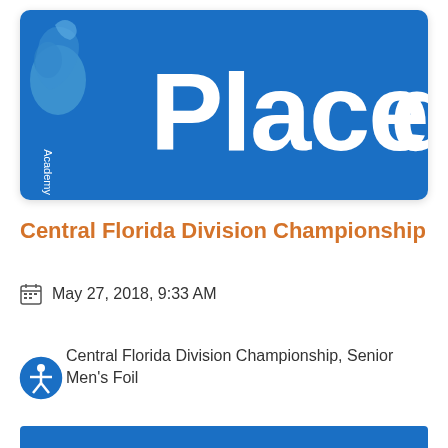[Figure (photo): Blue banner/sign with large white text reading 'Placed' (partially cropped), with a fencing academy logo on the left side showing a blue lion figure and the word 'Academy' vertically]
Central Florida Division Championship
May 27, 2018, 9:33 AM
Central Florida Division Championship, Senior Men's Foil
[Figure (other): Accessibility icon - blue circle with white stick figure person with arms extended]